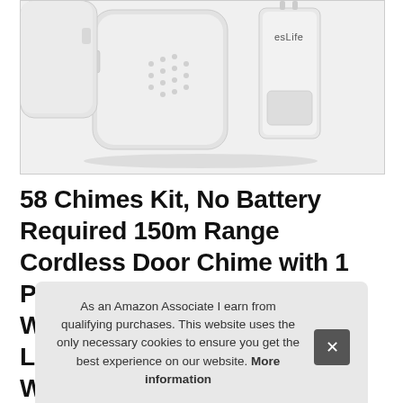[Figure (photo): Product photo showing white esLife wireless doorbell components: a large square receiver unit with speaker grille dots and a smaller wall-mounted push button transmitter, both in white/light gray, on a white background.]
58 Chimes Kit, No Battery Required 150m Range Cordless Door Chime with 1 Push ButtonSelf Power and 2 Wall Plu Le Wi
As an Amazon Associate I earn from qualifying purchases. This website uses the only necessary cookies to ensure you get the best experience on our website. More information